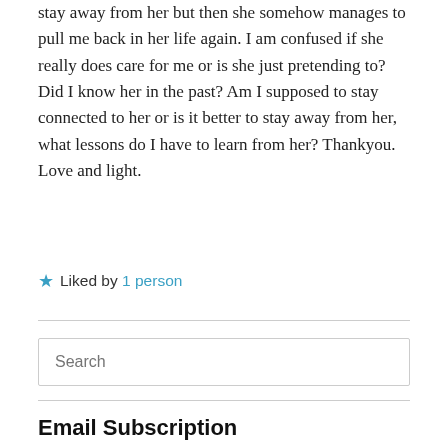stay away from her but then she somehow manages to pull me back in her life again. I am confused if she really does care for me or is she just pretending to? Did I know her in the past? Am I supposed to stay connected to her or is it better to stay away from her, what lessons do I have to learn from her? Thankyou. Love and light.
★ Liked by 1 person
Search
Email Subscription
Enter your email address to subscribe to this blog and receive notifications of new posts by email.